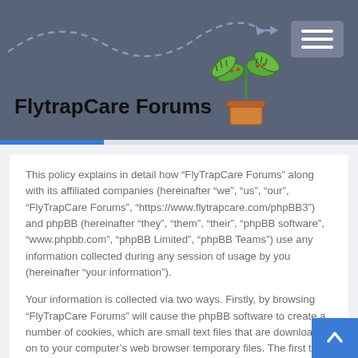[Figure (logo): FlytrapCare Forums website header with logo text, venus flytrap plant illustration, dashed arrow decoration, and hamburger menu icon on a slate-blue background]
This policy explains in detail how “FlyTrapCare Forums” along with its affiliated companies (hereinafter “we”, “us”, “our”, “FlyTrapCare Forums”, “https://www.flytrapcare.com/phpBB3”) and phpBB (hereinafter “they”, “them”, “their”, “phpBB software”, “www.phpbb.com”, “phpBB Limited”, “phpBB Teams”) use any information collected during any session of usage by you (hereinafter “your information”).
Your information is collected via two ways. Firstly, by browsing “FlyTrapCare Forums” will cause the phpBB software to create a number of cookies, which are small text files that are downloaded on to your computer’s web browser temporary files. The first two cookies just contain a user identifier (hereinafter “user-id”) and an anonymous session identifier (hereinafter “session-id”), automatically